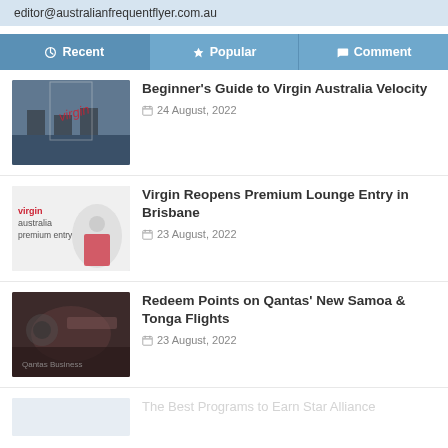editor@australianfrequentflyer.com.au
Recent | Popular | Comment
Beginner's Guide to Virgin Australia Velocity — 24 August, 2022
Virgin Reopens Premium Lounge Entry in Brisbane — 23 August, 2022
Redeem Points on Qantas' New Samoa & Tonga Flights — 23 August, 2022
The Best Programs to Earn Star Alliance